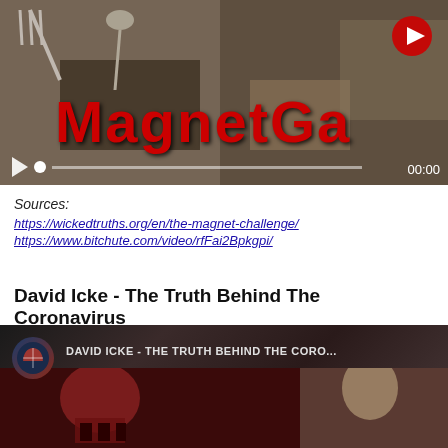[Figure (screenshot): Video player screenshot showing 'MagnetGate' video with kitchen utensils background, play button top right, playback controls at bottom, time 00:00]
Sources:
https://wickedtruths.org/en/the-magnet-challenge/
https://www.bitchute.com/video/rfFai2Bpkgpi/
David Icke - The Truth Behind The Coronavirus
[Figure (screenshot): Video player screenshot showing 'DAVID ICKE - THE TRUTH BEHIND THE CORO...' with channel icon, skull imagery and elderly man]